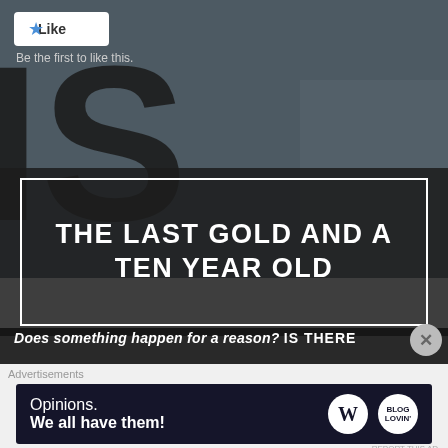[Figure (screenshot): Social media post interface showing a Like button with star icon and 'Be the first to like this.' text, over a dark background image with large black letter shapes visible]
THE LAST GOLD AND A TEN YEAR OLD
Does something happen for a reason? IS THERE
Advertisements
[Figure (screenshot): Advertisement banner with dark background reading 'Opinions. We all have them!' with WordPress logo and another circular logo]